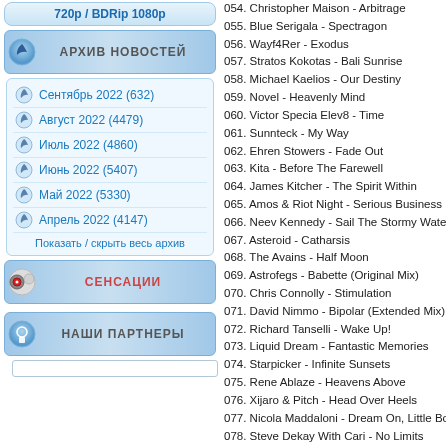720p / BDRip 1080p
АРХИВ НОВОСТЕЙ
Сентябрь 2022 (632)
Август 2022 (4479)
Июль 2022 (4860)
Июнь 2022 (5407)
Май 2022 (5330)
Апрель 2022 (4147)
Показать / скрыть весь архив
СЕНСАЦИИ
НАШИ ПАРТНЕРЫ
054. Christopher Maison - Arbitrage
055. Blue Serigala - Spectragon
056. Wayf4Rer - Exodus
057. Stratos Kokotas - Bali Sunrise
058. Michael Kaelios - Our Destiny
059. Novel - Heavenly Mind
060. Victor Specia Elev8 - Time
061. Sunnteck - My Way
062. Ehren Stowers - Fade Out
063. Kita - Before The Farewell
064. James Kitcher - The Spirit Within
065. Amos & Riot Night - Serious Business
066. Neev Kennedy - Sail The Stormy Waters
067. Asteroid - Catharsis
068. The Avains - Half Moon
069. Astrofegs - Babette (Original Mix)
070. Chris Connolly - Stimulation
071. David Nimmo - Bipolar (Extended Mix)
072. Richard Tanselli - Wake Up!
073. Liquid Dream - Fantastic Memories
074. Starpicker - Infinite Sunsets
075. Rene Ablaze - Heavens Above
076. Xijaro & Pitch - Head Over Heels
077. Nicola Maddaloni - Dream On, Little Boy
078. Steve Dekay With Cari - No Limits
079. Amir Rad - Life (Extended Mix)
080. Aimoon & Magesky - The Mountains
081. Tim Verkruissen - Reconnected
082. Jameson Tullar - Beyond Your Dreams
083. Exouler - Persistence Of Time
084. Vinny Degeorge - Seascape
085. Grande Piano - Mystery Of Tomorrow
086. Tony Hang - Willpower
087. Madwave & Shedona - Key Of Life
088. Pete Delete & Phazer - This Is The Way
089. Adam Taylor - Into The Storm
090. Grande Piano - Stay With Me
091. Aero 21 X Kitti - Fly Away